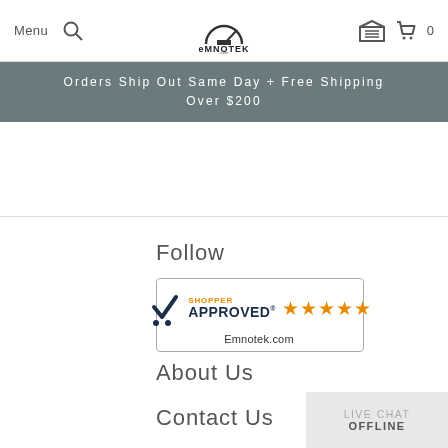Menu  [search]  EMNOTEK  [garage icon]  [cart] 0
Orders Ship Out Same Day + Free Shipping Over $200
Follow
[Figure (logo): Shopper Approved badge with 5 orange stars and text 'Emnotek.com']
About Us
Contact Us
LIVE CHAT OFFLINE